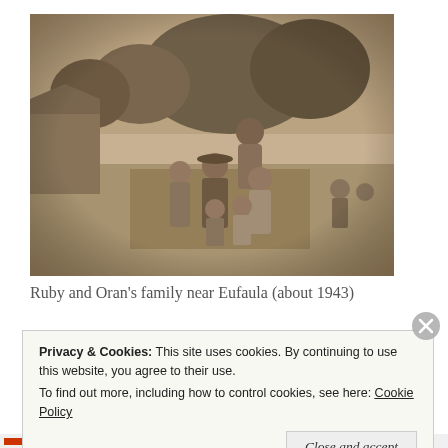[Figure (photo): Sepia-toned vintage photograph of Ruby and Oran's family posing outdoors near Eufaula, circa 1943. Several adults and children are grouped together in front of trees and a small outbuilding.]
Ruby and Oran's family near Eufaula (about 1943)
Privacy & Cookies: This site uses cookies. By continuing to use this website, you agree to their use.
To find out more, including how to control cookies, see here: Cookie Policy
Close and accept